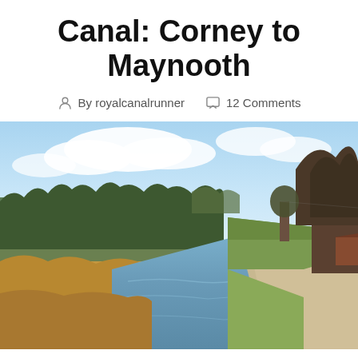Canal: Corney to Maynooth
By royalcanalrunner   12 Comments
[Figure (photo): A photograph of a canal towpath on a bright day with blue sky and white clouds. The canal runs through the centre of the image with golden reeds on the left bank, bare winter trees in the background, and a gravel towpath on the right side with green grass verge and bare trees.]